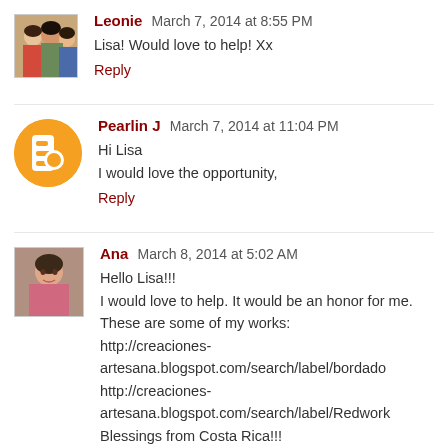Leonie  March 7, 2014 at 8:55 PM
Lisa! Would love to help! Xx
Reply
Pearlin J  March 7, 2014 at 11:04 PM
Hi Lisa
I would love the opportunity,
Reply
Ana  March 8, 2014 at 5:02 AM
Hello Lisa!!!
I would love to help. It would be an honor for me.
These are some of my works:
http://creaciones-artesana.blogspot.com/search/label/bordado
http://creaciones-artesana.blogspot.com/search/label/Redwork
Blessings from Costa Rica!!!